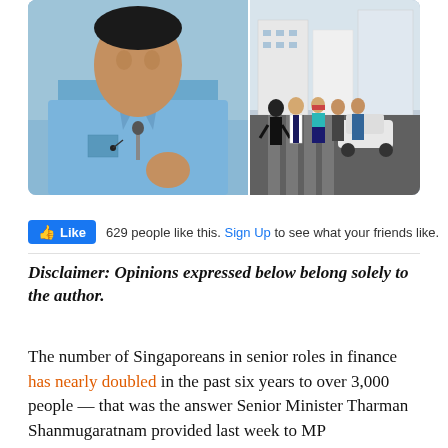[Figure (photo): Composite photo: left side shows a man in a light blue shirt speaking or presenting; right side shows pedestrians crossing a street in what appears to be a business district (likely Singapore).]
629 people like this. Sign Up to see what your friends like.
Disclaimer: Opinions expressed below belong solely to the author.
The number of Singaporeans in senior roles in finance has nearly doubled in the past six years to over 3,000 people — that was the answer Senior Minister Tharman Shanmugaratnam provided last week to MP